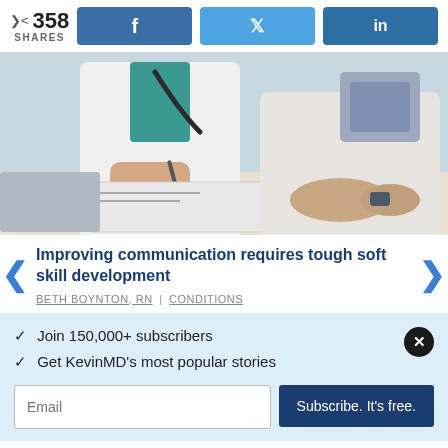358 SHARES | Facebook | Twitter | LinkedIn
[Figure (photo): Photo of a doctor in white coat with stethoscope writing on clipboard, consulting with a patient at a desk]
Improving communication requires tough soft skill development
BETH BOYNTON, RN | CONDITIONS
✓ Join 150,000+ subscribers
✓ Get KevinMD's most popular stories
Email  Subscribe. It's free.